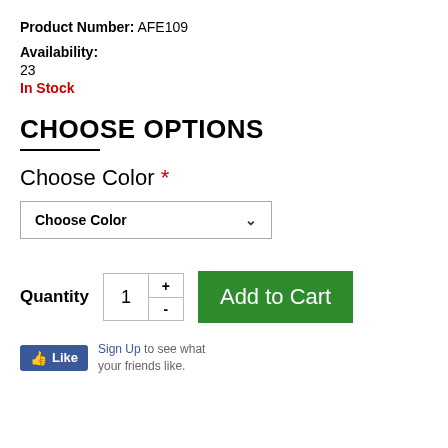Product Number: AFE109
Availability:
23
In Stock
CHOOSE OPTIONS
Choose Color *
Choose Color (dropdown)
Quantity  1  +  -   Add to Cart
Like  Sign Up to see what your friends like.